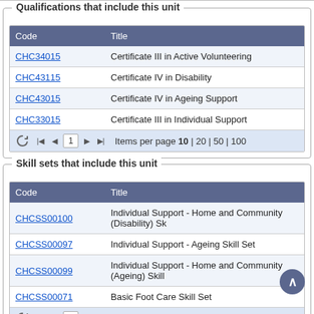Qualifications that include this unit
| Code | Title |
| --- | --- |
| CHC34015 | Certificate III in Active Volunteering |
| CHC43115 | Certificate IV in Disability |
| CHC43015 | Certificate IV in Ageing Support |
| CHC33015 | Certificate III in Individual Support |
Items per page 10 | 20 | 50 | 100
Skill sets that include this unit
| Code | Title |
| --- | --- |
| CHCSS00100 | Individual Support - Home and Community (Disability) Sk... |
| CHCSS00097 | Individual Support - Ageing Skill Set |
| CHCSS00099 | Individual Support - Home and Community (Ageing) Skill... |
| CHCSS00071 | Basic Foot Care Skill Set |
Items per page 10 | 20 | 50 | 100
Accredited courses that have this unit in the completion requirements